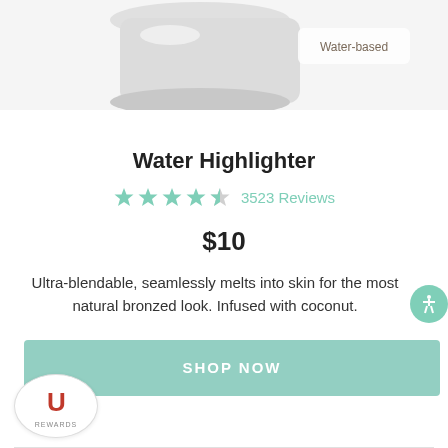[Figure (photo): Product image of Water Highlighter jar/container, partially cropped at top, with a 'Water-based' label badge in the upper right]
Water Highlighter
★★★★½ 3523 Reviews
$10
Ultra-blendable, seamlessly melts into skin for the most natural bronzed look. Infused with coconut.
SHOP NOW
[Figure (logo): U REWARDS loyalty program logo at bottom left]